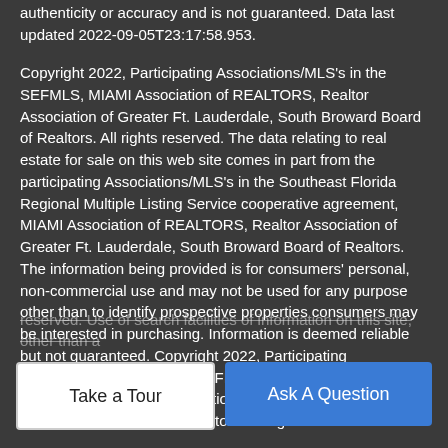authenticity or accuracy and is not guaranteed. Data last updated 2022-09-05T23:17:58.953.
Copyright 2022, Participating Associations/MLS's in the SEFMLS, MIAMI Association of REALTORS, Realtor Association of Greater Ft. Lauderdale, South Broward Board of Realtors. All rights reserved. The data relating to real estate for sale on this web site comes in part from the participating Associations/MLS's in the Southeast Florida Regional Multiple Listing Service cooperative agreement, MIAMI Association of REALTORS, Realtor Association of Greater Ft. Lauderdale, South Broward Board of Realtors. The information being provided is for consumers' personal, non-commercial use and may not be used for any purpose other than to identify prospective properties consumers may be interested in purchasing. Information is deemed reliable but not guaranteed. Copyright 2022, Participating Associations/MLS's in the SEFMLS, MIAMI Association of REALTORS, Realtor Association of Greater Ft. Lauderdale, South Broward Board of Realtors. All rights reserved. Use of search facilities of information on this site, other than a
Take a Tour
Ask A Question